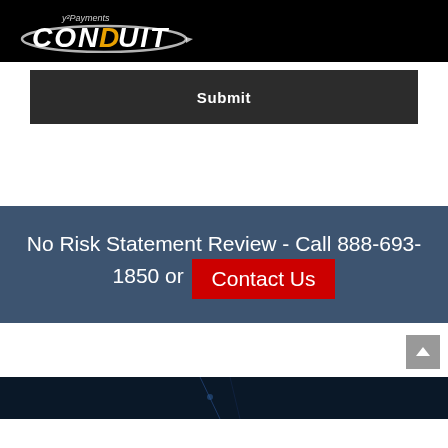y2Payments CONDUIT
Submit
No Risk Statement Review - Call 888-693-1850 or Contact Us